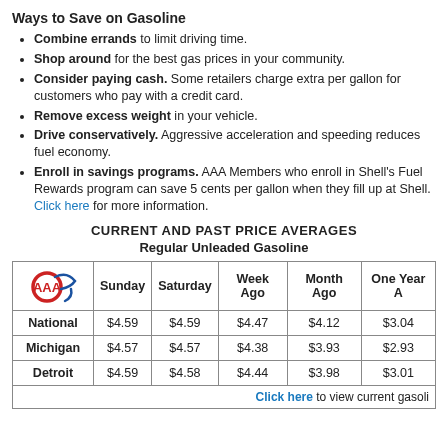Ways to Save on Gasoline
Combine errands to limit driving time.
Shop around for the best gas prices in your community.
Consider paying cash. Some retailers charge extra per gallon for customers who pay with a credit card.
Remove excess weight in your vehicle.
Drive conservatively. Aggressive acceleration and speeding reduces fuel economy.
Enroll in savings programs. AAA Members who enroll in Shell's Fuel Rewards program can save 5 cents per gallon when they fill up at Shell. Click here for more information.
CURRENT AND PAST PRICE AVERAGES
Regular Unleaded Gasoline
|  | Sunday | Saturday | Week Ago | Month Ago | One Year Ago |
| --- | --- | --- | --- | --- | --- |
| National | $4.59 | $4.59 | $4.47 | $4.12 | $3.04 |
| Michigan | $4.57 | $4.57 | $4.38 | $3.93 | $2.93 |
| Detroit | $4.59 | $4.58 | $4.44 | $3.98 | $3.01 |
Click here to view current gasoline